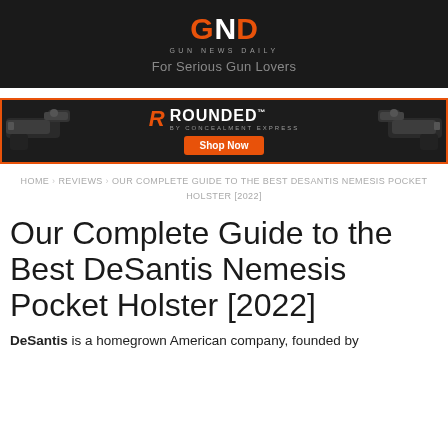GND GUN NEWS DAILY – For Serious Gun Lovers
[Figure (infographic): ROUNDED by Concealment Express advertisement banner with two pistols on either side and a Shop Now button]
HOME › REVIEWS › OUR COMPLETE GUIDE TO THE BEST DESANTIS NEMESIS POCKET HOLSTER [2022]
Our Complete Guide to the Best DeSantis Nemesis Pocket Holster [2022]
DeSantis is a homegrown American company, founded by